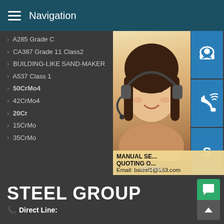Navigation
A285 Grade C
CA387 Grade 11 Class2
BUILDING-LIKE SAND-MAKER
A537 Class 1
50CrMo4
42CrMo4
20Cr
15CrMo
35CrMo
A387 G
A387 G
A387
A516
P235G
51CrV
12Cr1
40Cr
30CrMo
42CrMo
[Figure (photo): Customer service representative woman with headset, overlaid with contact icons (headset, phone, Skype) and promo text: MANUAL SE... QUOTING O... Email: bsteel1@163.com]
STEEL GROUP
Direct Line: